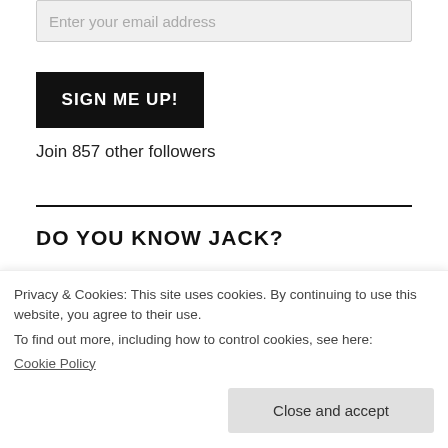Enter your email address
SIGN ME UP!
Join 857 other followers
DO YOU KNOW JACK?
Jack Hager has been in vocational youth
Privacy & Cookies: This site uses cookies. By continuing to use this website, you agree to their use.
To find out more, including how to control cookies, see here:
Cookie Policy
Close and accept
Christian Youth (Rhinelander, WI 1964-1967),